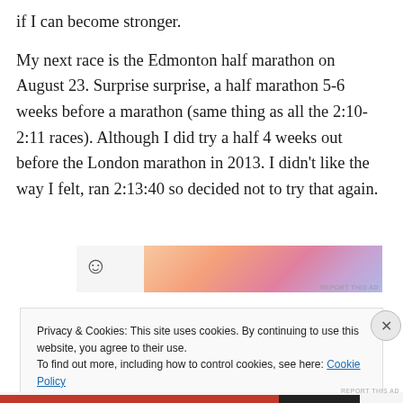if I can become stronger.
My next race is the Edmonton half marathon on August 23. Surprise surprise, a half marathon 5-6 weeks before a marathon (same thing as all the 2:10-2:11 races). Although I did try a half 4 weeks out before the London marathon in 2013. I didn't like the way I felt, ran 2:13:40 so decided not to try that again.
[Figure (other): Advertisement banner with gradient colors (orange to purple) and a smiley face icon on the left side. Includes 'REPORT THIS AD' text.]
Privacy & Cookies: This site uses cookies. By continuing to use this website, you agree to their use.
To find out more, including how to control cookies, see here: Cookie Policy
Close and accept